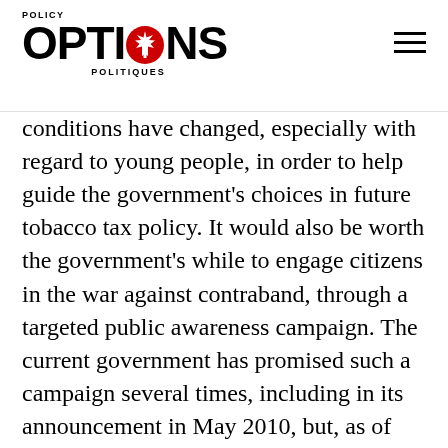POLICY OPTIONS POLITIQUES
conditions have changed, especially with regard to young people, in order to help guide the government’s choices in future tobacco tax policy. It would also be worth the government’s while to engage citizens in the war against contraband, through a targeted public awareness campaign. The current government has promised such a campaign several times, including in its announcement in May 2010, but, as of this writing, has yet to deliver it. Blackwell sums up the state’s dilemma: “I think at some point [reducing taxes] would have an impact as it did after the first round of contraband smuggling back in the 1990s, but the